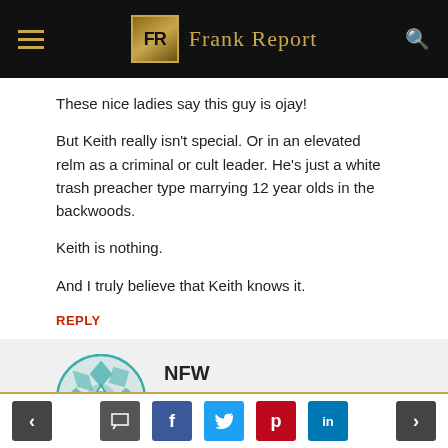Frank Report
These nice ladies say this guy is ojay!
But Keith really isn't special. Or in an elevated relm as a criminal or cult leader. He's just a white trash preacher type marrying 12 year olds in the backwoods.
Keith is nothing.
And I truly believe that Keith knows it.
REPLY
NFW
April 28, 2022 at 5:30 am
< [comment] [f] [t] [p] [in] >